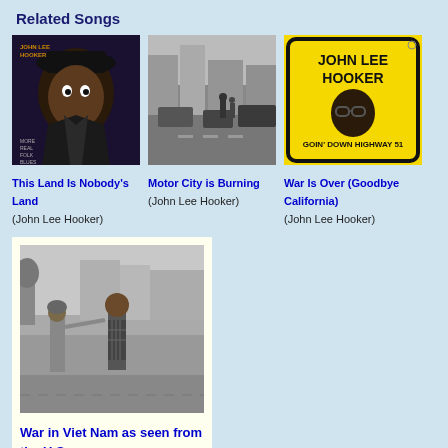Related Songs
[Figure (illustration): Album cover: John Lee Hooker - More Real Folk Blues]
This Land Is Nobody's Land
(John Lee Hooker)
[Figure (photo): Black and white street scene, Motor City is Burning]
Motor City is Burning
(John Lee Hooker)
[Figure (illustration): Album cover: John Lee Hooker - Goin' Down Highway 51, yellow background]
War Is Over (Goodbye California)
(John Lee Hooker)
[Figure (photo): Black and white Vietnam War photo - War in Viet Nam as seen from the U.S.]
War in Viet Nam as seen from the U.S.